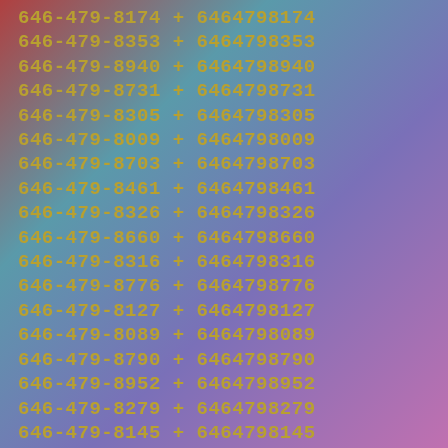646-479-8174 + 6464798174
646-479-8353 + 6464798353
646-479-8940 + 6464798940
646-479-8731 + 6464798731
646-479-8305 + 6464798305
646-479-8009 + 6464798009
646-479-8703 + 6464798703
646-479-8461 + 6464798461
646-479-8326 + 6464798326
646-479-8660 + 6464798660
646-479-8316 + 6464798316
646-479-8776 + 6464798776
646-479-8127 + 6464798127
646-479-8089 + 6464798089
646-479-8790 + 6464798790
646-479-8952 + 6464798952
646-479-8279 + 6464798279
646-479-8145 + 6464798145
646-479-8092 + 6464798092
646-479-8542 + 6464798542
646-479-8716 + 6464798716
646-479-8883 + 6464798883